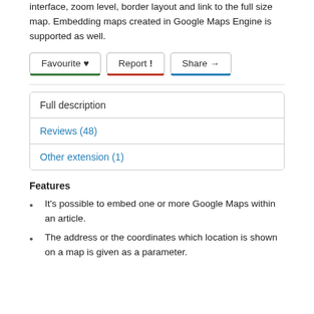interface, zoom level, border layout and link to the full size map. Embedding maps created in Google Maps Engine is supported as well.
[Figure (screenshot): Three buttons: Favourite (with heart icon, green underline), Report (with exclamation icon, red underline), Share (with arrow icon, blue underline)]
| Full description |
| Reviews (48) |
| Other extension (1) |
Features
It's possible to embed one or more Google Maps within an article.
The address or the coordinates which location is shown on a map is given as a parameter.